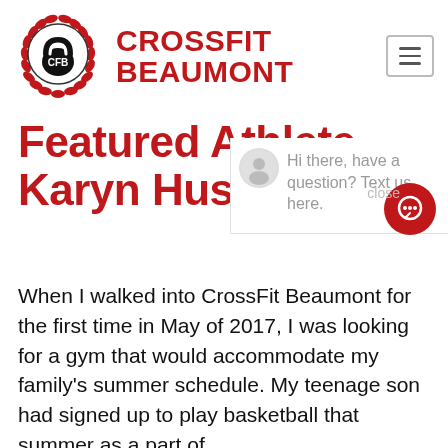[Figure (logo): CrossFit Beaumont logo: a kettlebell with 'CFB' text inside a red laurel wreath circle, in black and red]
CROSSFIT BEAUMONT
Featured Athlete – Karyn Husbands
Hi there, have a question? Text us here.
When I walked into CrossFit Beaumont for the first time in May of 2017, I was looking for a gym that would accommodate my family's summer schedule. My teenage son had signed up to play basketball that summer as a part of